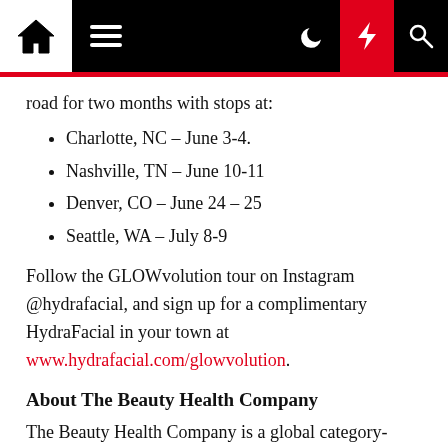Navigation bar with home, menu, dark mode, lightning, and search icons
road for two months with stops at:
Charlotte, NC – June 3-4.
Nashville, TN – June 10-11
Denver, CO – June 24 – 25
Seattle, WA – July 8-9
Follow the GLOWvolution tour on Instagram @hydrafacial, and sign up for a complimentary HydraFacial in your town at www.hydrafacial.com/glowvolution.
About The Beauty Health Company
The Beauty Health Company is a global category-creating company focused on delivering beauty health experiences by reinventing our consumer's relationship with their skin, their bodies, and their